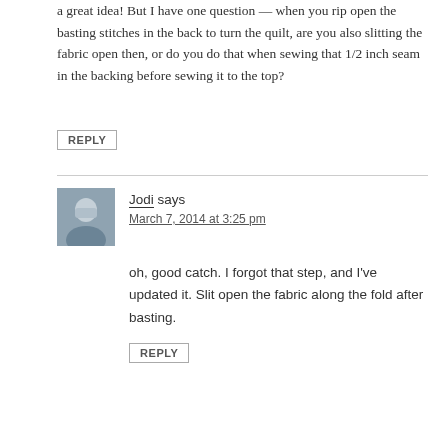a great idea! But I have one question — when you rip open the basting stitches in the back to turn the quilt, are you also slitting the fabric open then, or do you do that when sewing that 1/2 inch seam in the backing before sewing it to the top?
REPLY
Jodi says
March 7, 2014 at 3:25 pm
oh, good catch. I forgot that step, and I've updated it. Slit open the fabric along the fold after basting.
REPLY